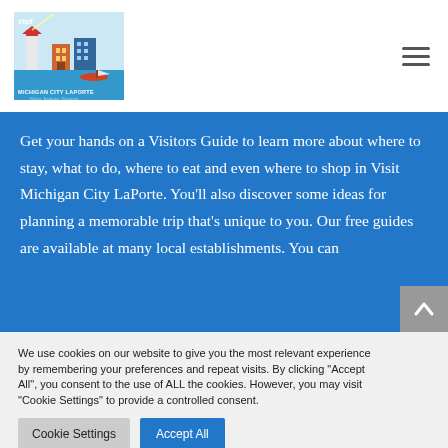Visit Michigan City LaPorte logo and navigation
Get your hands on a Visitors Guide to learn more about where to stay, what to do, where to eat and even where to shop in Visit Michigan City LaPorte. You’ll also discover some ideas for planning a memorable trip that’s unique to you. Our free guides are available at many local establishments. You can
We use cookies on our website to give you the most relevant experience by remembering your preferences and repeat visits. By clicking “Accept All”, you consent to the use of ALL the cookies. However, you may visit "Cookie Settings" to provide a controlled consent.
Cookie Settings
Accept All